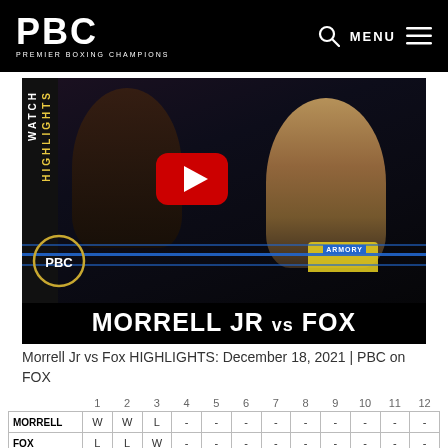PBC PREMIER BOXING CHAMPIONS — MENU
[Figure (screenshot): Video thumbnail for Morrell Jr vs Fox highlights on YouTube/PBC. Shows two boxers mid-fight in a boxing ring with blue ropes. Text overlay reads WATCH HIGHLIGHTS vertically on left side, PBC circle logo bottom left, and MORRELL JR vs FOX in large white text on black bar at bottom. Red YouTube play button in center.]
Morrell Jr vs Fox HIGHLIGHTS: December 18, 2021 | PBC on FOX
|  | 1 | 2 | 3 | 4 | 5 | 6 | 7 | 8 | 9 | 10 | 11 | 12 |
| --- | --- | --- | --- | --- | --- | --- | --- | --- | --- | --- | --- | --- |
| MORRELL | W | W | L | - | - | - | - | - | - | - | - | - |
| FOX | L | L | W | - | - | - | - | - | - | - | - | - |